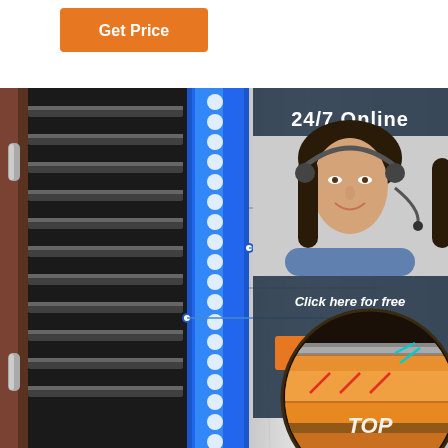[Figure (screenshot): Orange 'Get Price' button at top left]
[Figure (photo): Industrial food dehydrator/oven cross-section showing internal trays on the left, blue insulation panel with bubbles in the middle, stainless steel panel on the right with annotation lines pointing to 'No-finger' and '35MM Thicke' labels. Overlaid chat widget showing '24/7 Online' with a female customer service agent photo, 'Click here for free chat!' text, and orange QUOTATION button. Bottom right shows a circular close-up of layered insulation with 'TOP' text.]